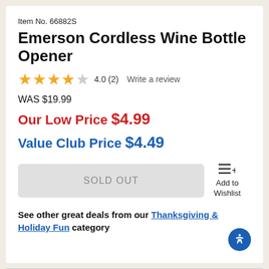Item No. 66882S
Emerson Cordless Wine Bottle Opener
4.0 (2)   Write a review
WAS $19.99
Our Low Price $4.99
Value Club Price $4.49
SOLD OUT
Add to Wishlist
See other great deals from our Thanksgiving & Holiday Fun category